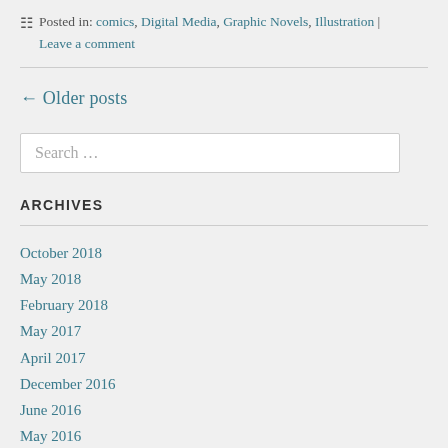Posted in: comics, Digital Media, Graphic Novels, Illustration | Leave a comment
← Older posts
Search …
ARCHIVES
October 2018
May 2018
February 2018
May 2017
April 2017
December 2016
June 2016
May 2016